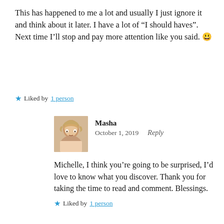This has happened to me a lot and usually I just ignore it and think about it later. I have a lot of “I should haves”. Next time I’ll stop and pay more attention like you said. 😃
★ Liked by 1 person
Masha
October 1, 2019   Reply
Michelle, I think you’re going to be surprised, I’d love to know what you discover. Thank you for taking the time to read and comment. Blessings.
★ Liked by 1 person